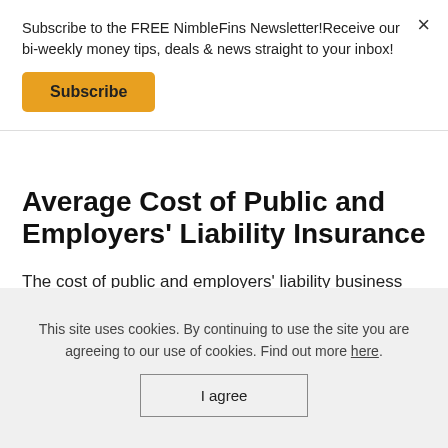Subscribe to the FREE NimbleFins Newsletter!Receive our bi-weekly money tips, deals & news straight to your inbox!
Subscribe
Average Cost of Public and Employers' Liability Insurance
The cost of public and employers' liability business insurance is highly variable, starting from around £100 a year but rising into the thousands of pounds a year for some
This site uses cookies. By continuing to use the site you are agreeing to our use of cookies. Find out more here.
I agree